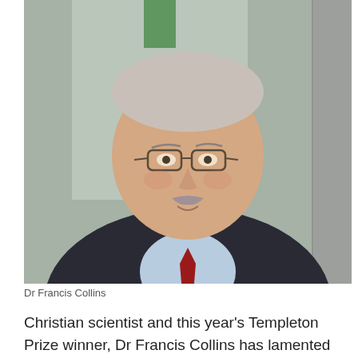[Figure (photo): Portrait photo of Dr Francis Collins, an older man with grey hair, glasses, and a moustache, wearing a dark suit and red tie, smiling in what appears to be a corridor or hallway setting.]
Dr Francis Collins
Christian scientist and this year's Templeton Prize winner, Dr Francis Collins has lamented sharp divisions in society over some of the measures to fight coronavirus.
In his acceptance speech for the prize, which he received at an online ceremony on Thursday night, the Human Genome Project leader called for